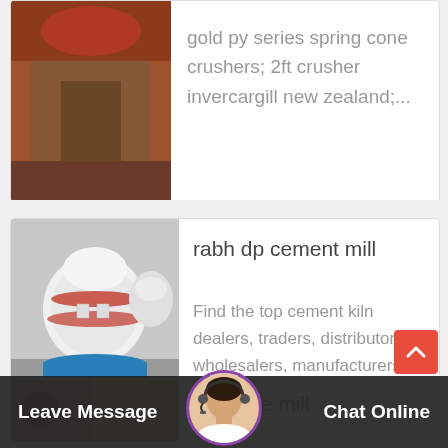[Figure (photo): Partial view of industrial machinery, red and brown tones]
gold py series spring cone crushers; 2ft crusher invercargill new zealand;...
[Figure (photo): Industrial cement mill machinery, white cylindrical equipment on blue base in factory]
rabh dp cement mill
Find the top cement kiln dealers, traders, distributors, wholesalers, manufacturers...
[Figure (photo): Partial view of industrial machine mill equipment]
machine mill
Leave Message   Chat Online